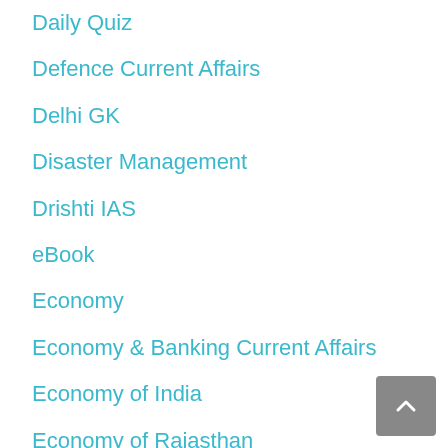Daily Quiz
Defence Current Affairs
Delhi GK
Disaster Management
Drishti IAS
eBook
Economy
Economy & Banking Current Affairs
Economy of India
Economy of Rajasthan
Economy Question Bank
Electrical Engineering
Eligibility
Environment
Environment Question Bank